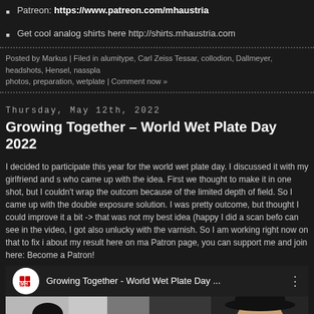Patreon: https://www.patreon.com/mhaustria
Get cool analog shirts here http://shirts.mhaustria.com
Posted by Markus | Filed in alumitype, Carl Zeiss Tessar, collodion, Dallmeyer, headshots, Hensel, nasspla photos, preparation, wetplate | Comment now »
Thursday, May 12th, 2022
Growing Together – World Wet Plate Day 2022
I decided to participate this year for the world wet plate day. I discussed it with my girlfriend and s who came up with the idea. First we thought to make it in one shot, but I couldn't wrap the outcom because of the limited depth of field. So I came up with the double exposure solution. I was pretty outcome, but thought I could improve it a bit -> that was not my best idea (happy I did a scan befo can see in the video, I got also unlucky with the varnish. So I am working right now on that to fix i about my result here on ma Patron page, you can support me and join here: Become a Patron!
[Figure (screenshot): YouTube video thumbnail for 'Growing Together - World Wet Plate Day ...' showing two bearded men, one in a hat on the left and one on the right, with a YouTube play button in the center. The MH Austria channel logo is visible in the top-left of the video bar.]